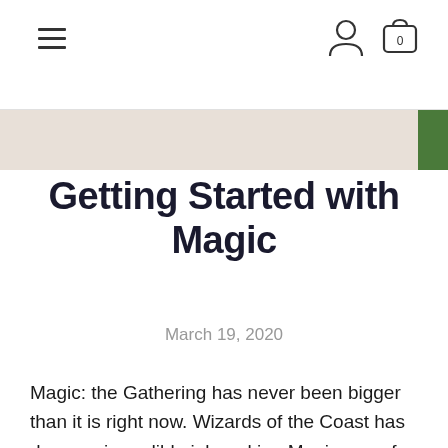≡ [user icon] [cart icon] 0
[Figure (photo): Partial banner image strip showing tan/beige background on the left and green on the right]
Getting Started with Magic
March 19, 2020
Magic: the Gathering has never been bigger than it is right now. Wizards of the Coast has done an incredible job making Magic one of the strongest entertainment and gaming brands in the world. Much like what Wizards of the Coast has done with Dungeons & Dragons, they have been able to